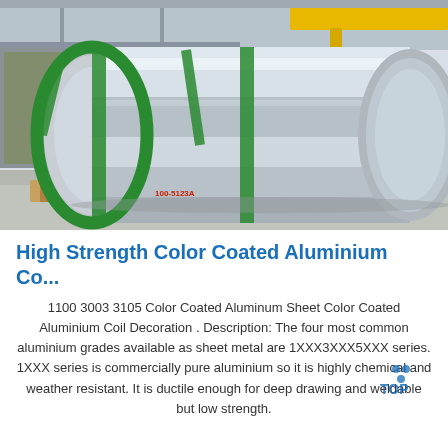[Figure (photo): Large aluminum coil/roll wrapped with green straps, resting on wooden pallets in an industrial warehouse facility with overhead crane visible in background.]
High Strength Color Coated Aluminium Co...
1100 3003 3105 Color Coated Aluminum Sheet Color Coated Aluminium Coil Decoration . Description: The four most common aluminium grades available as sheet metal are 1XXX3XXX5XXX series. 1XXX series is commercially pure aluminium so it is highly chemical and weather resistant. It is ductile enough for deep drawing and weldable but low strength.